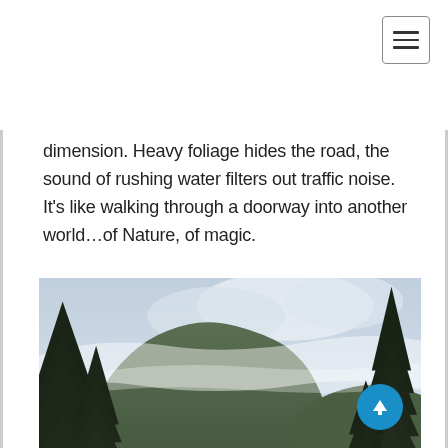[Figure (other): Hamburger/navigation menu button icon in top right corner of page]
dimension. Heavy foliage hides the road, the sound of rushing water filters out traffic noise. It’s like walking through a doorway into another world…of Nature, of magic.
[Figure (photo): Misty mountain landscape with evergreen trees in the foreground and fog-covered hills in the background under an overcast sky]